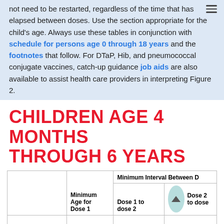not need to be restarted, regardless of the time that has elapsed between doses. Use the section appropriate for the child's age. Always use these tables in conjunction with schedule for persons age 0 through 18 years and the footnotes that follow. For DTaP, Hib, and pneumococcal conjugate vaccines, catch-up guidance job aids are also available to assist health care providers in interpreting Figure 2.
CHILDREN AGE 4 MONTHS THROUGH 6 YEARS
| Vaccine | Minimum Age for Dose 1 | Dose 1 to dose 2 | Dose 2 to dose ... |
| --- | --- | --- | --- |
|  |  |  |  |